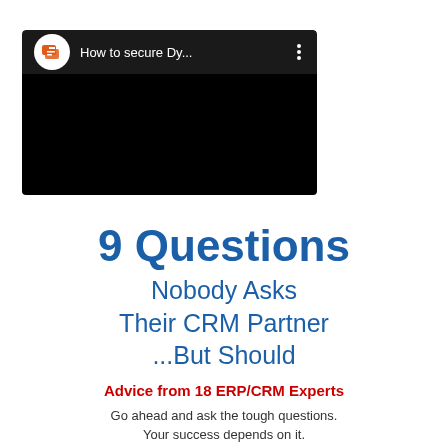[Figure (screenshot): A video thumbnail with a dark top bar showing an orange chat-bubble logo icon, the title text 'How to secure Dy...' in white, and a three-dot menu icon. The main area of the thumbnail is solid black.]
9 Questions Nobody Asks Their CRM Partner ...But Should
Advice from 18 ERP/CRM Experts
Go ahead and ask the tough questions. Your success depends on it.